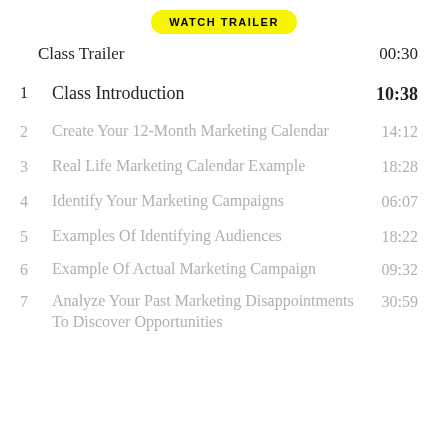[Figure (other): Yellow WATCH TRAILER button]
Class Trailer  00:30
1  Class Introduction  10:38
2  Create Your 12-Month Marketing Calendar  14:12
3  Real Life Marketing Calendar Example  18:28
4  Identify Your Marketing Campaigns  06:07
5  Examples Of Identifying Audiences  18:22
6  Example Of Actual Marketing Campaign  09:32
7  Analyze Your Past Marketing Disappointments To Discover Opportunities  30:59